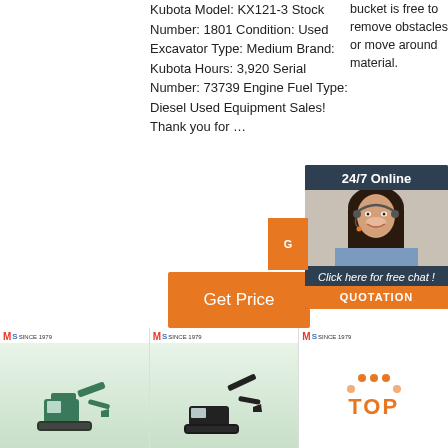bucket is free to remove obstacles or move around material.
Kubota Model: KX121-3 Stock Number: 1801 Condition: Used Excavator Type: Medium Brand: Kubota Hours: 3,920 Serial Number: 73739 Engine Fuel Type: Diesel Used Equipment Sales! Thank you for …
[Figure (infographic): 24/7 Online chat widget with woman in headset, 'Click here for free chat!' and QUOTATION button]
[Figure (other): Orange Get Price button]
[Figure (other): Bottom row of three excavator product thumbnail images with MS Since 1979 logos and TOP button]